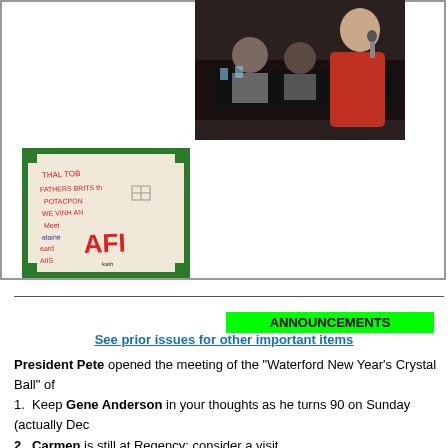[Figure (photo): People seated and standing at a table with black tablecloth; a woman in a red floral dress holds a microphone]
[Figure (photo): Handwritten note on a piece of paper with green border, text includes 'AFI' and other handwritten words]
ANNOUNCEMENTS
See prior issues for other important items
President Pete opened the meeting of the "Waterford New Year's Crystal Ball" of
1.  Keep Gene Anderson in your thoughts as he turns 90 on Sunday (actually Dec
2.  Carmen is still at Regency; consider a visit.
3.  Polio Plus cups are on the table; save a life.
4.  Next Recent-member breakfast is January 8, 730 AM at Smitty's with Jon Voly look at Rotary's calendar of events
5.  Guests: Andy Patr's guests include our inbound RYE student Chloe and